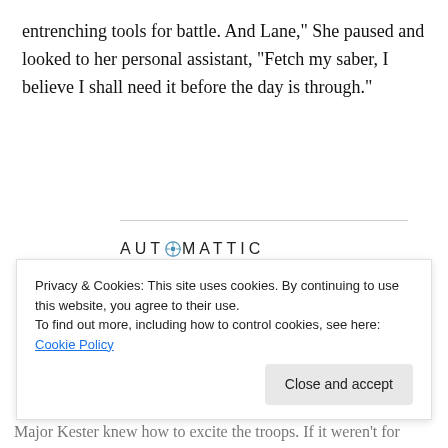entrenching tools for battle. And Lane," She paused and looked to her personal assistant, "Fetch my saber, I believe I shall need it before the day is through."
[Figure (logo): Automattic logo with circular compass icon between AUT and MATTIC]
[Figure (infographic): Automattic recruitment ad: 'Build a better web and a better world.' with Apply button and photo of a man thinking]
Privacy & Cookies: This site uses cookies. By continuing to use this website, you agree to their use.
To find out more, including how to control cookies, see here: Cookie Policy
Close and accept
Major Kester knew how to excite the troops. If it weren't for